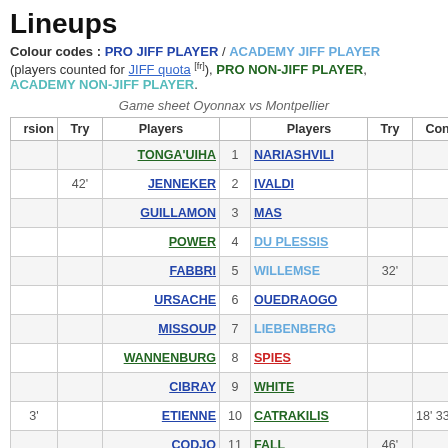Lineups
Colour codes : PRO JIFF PLAYER / ACADEMY JIFF PLAYER
(players counted for JIFF quota [fr]), PRO NON-JIFF PLAYER, ACADEMY NON-JIFF PLAYER.
Game sheet Oyonnax vs Montpellier
| rsion | Try | Players |  | Players | Try | Conv |
| --- | --- | --- | --- | --- | --- | --- |
|  |  | TONGA'UIHA | 1 | NARIASHVILI |  |  |
|  | 42' | JENNEKER | 2 | IVALDI |  |  |
|  |  | GUILLAMON | 3 | MAS |  |  |
|  |  | POWER | 4 | DU PLESSIS |  |  |
|  |  | FABBRI | 5 | WILLEMSE | 32' |  |
|  |  | URSACHE | 6 | OUEDRAOGO |  |  |
|  |  | MISSOUP | 7 | LIEBENBERG |  |  |
|  |  | WANNENBURG | 8 | SPIES |  |  |
|  |  | CIBRAY | 9 | WHITE |  |  |
| 3' |  | ETIENNE | 10 | CATRAKILIS |  | 18' 33 |
|  |  | CODJO | 11 | FALL | 46' |  |
|  |  | HANSELL-PUNE | 12 | STEYN |  |  |